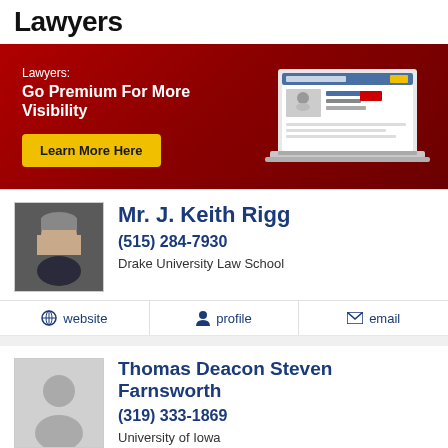Lawyers
[Figure (infographic): Red banner advertisement: 'Lawyers: Go Premium For More Visibility' with a yellow 'Learn More Here' button and a laptop illustration showing a Justia Lawyers profile page.]
Mr. J. Keith Rigg
(515) 284-7930
Drake University Law School
website  profile  email
Thomas Deacon Steven Farnsworth
(319) 333-1869
University of Iowa